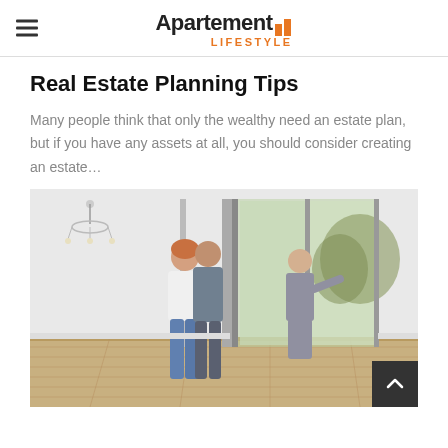Apartement LIFESTYLE
Real Estate Planning Tips
Many people think that only the wealthy need an estate plan, but if you have any assets at all, you should consider creating an estate…
[Figure (photo): Interior of an empty apartment room with wood floors and large windows/sliding doors. A female real estate agent in a grey suit gestures while showing the space to a couple (woman in white top and jeans, man behind her). A chandelier is visible in the upper left. Trees are visible through the windows outside.]